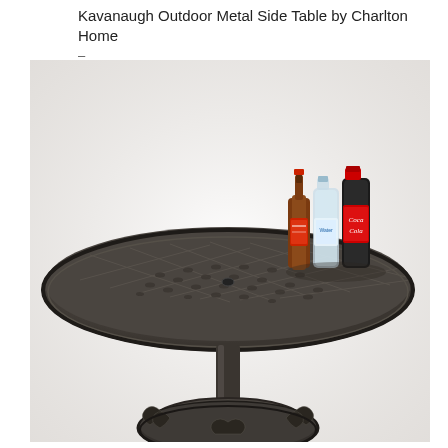Kavanaugh Outdoor Metal Side Table by Charlton Home
–
[Figure (photo): A round cast-iron outdoor patio side table with a lattice-weave pattern top surface, single pedestal leg, and decorative ornate circular base. Three beverage bottles are placed on the table top: a brown beer bottle, a clear water bottle, and a Coca-Cola bottle. The table is dark bronze/charcoal in color. Background is white/off-white.]